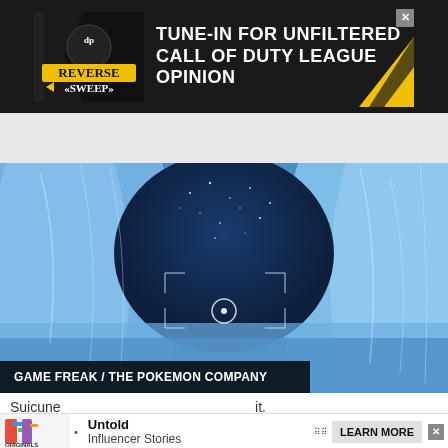[Figure (screenshot): Advertisement banner for 'Reverse Sweep' show with dark background, yellow/black logo, and text 'TUNE-IN FOR UNFILTERED CALL OF DUTY LEAGUE OPINION' in white bold text on dark background with chevron pattern]
[Figure (screenshot): Game screenshot showing a first-person view inside an ice cave with blue glowing walls and opening to a starry night sky, with a reticle/crosshair visible in the center. Shows 'GAME FREAK / THE POKEMON COMPANY' caption bar at bottom.]
Suicune ... it.
[Figure (screenshot): Bottom advertisement for 'Originals - Untold Influencer Stories' with colorful logo and 'LEARN MORE' button]